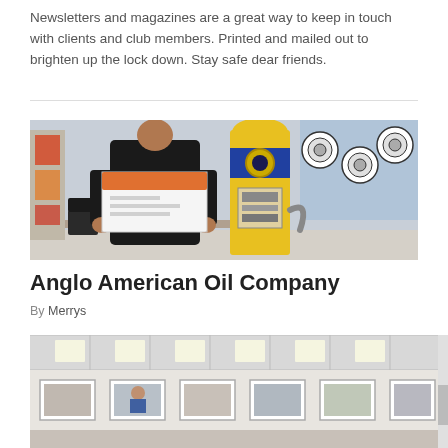Newsletters and magazines are a great way to keep in touch with clients and club members. Printed and mailed out to brighten up the lock down. Stay safe dear friends.
[Figure (photo): A person in a dark jacket holding printed magazines/newsletters next to a vintage yellow and blue gas pump, inside a room with display racks in the background.]
Anglo American Oil Company
By Merrys
[Figure (photo): Interior of a shop or exhibition space with white ceiling tiles and framed photographs or posters along the walls.]